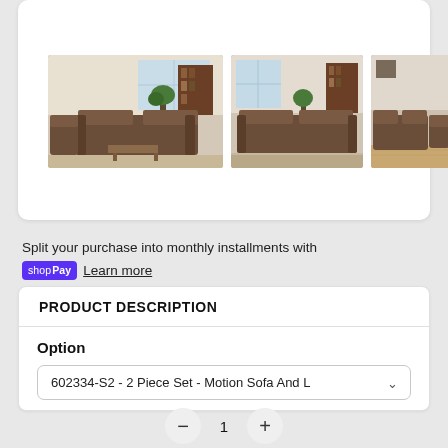[Figure (photo): Three thumbnail photos of a brown recliner living room furniture set in different room settings]
Split your purchase into monthly installments with shop Pay  Learn more
PRODUCT DESCRIPTION
Option
602334-S2 - 2 Piece Set - Motion Sofa And L
1